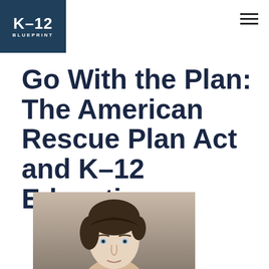K-12 BLUEPRINT
Go With the Plan: The American Rescue Plan Act and K-12 Education
[Figure (photo): Headshot of a person with short dark hair, photographed indoors with a neutral background]